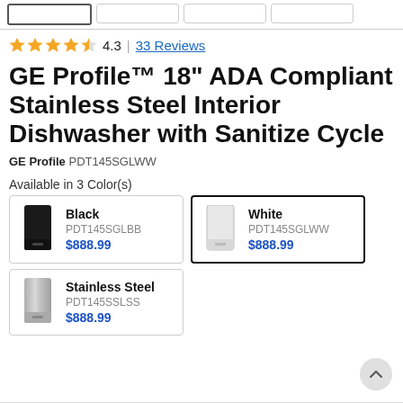4.3 | 33 Reviews
GE Profile™ 18" ADA Compliant Stainless Steel Interior Dishwasher with Sanitize Cycle
GE Profile PDT145SGLWW
Available in 3 Color(s)
Black
PDT145SGLBB
$888.99
White
PDT145SGLWW
$888.99
Stainless Steel
PDT145SSLSS
$888.99